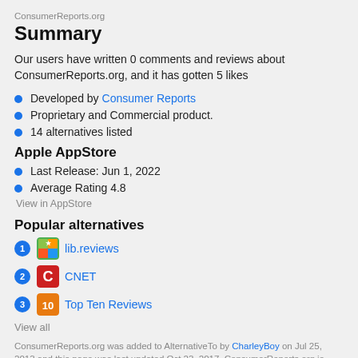ConsumerReports.org
Summary
Our users have written 0 comments and reviews about ConsumerReports.org, and it has gotten 5 likes
Developed by Consumer Reports
Proprietary and Commercial product.
14 alternatives listed
Apple AppStore
Last Release: Jun 1, 2022
Average Rating 4.8
View in AppStore
Popular alternatives
1 lib.reviews
2 CNET
3 Top Ten Reviews
View all
ConsumerReports.org was added to AlternativeTo by CharleyBoy on Jul 25, 2013 and this page was last updated Oct 23, 2017. ConsumerReports.org is sometimes referred to as